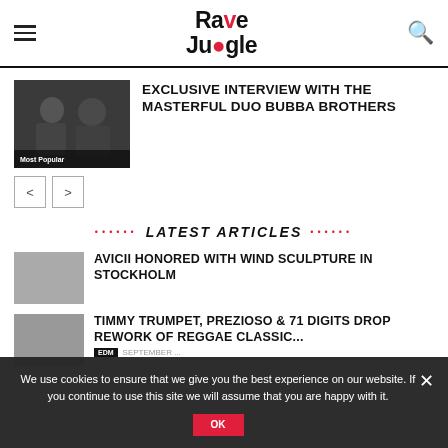Rave Jungle
[Figure (photo): Two people in dark clothing posing for photo — Bubba Brothers duo]
EXCLUSIVE INTERVIEW WITH THE MASTERFUL DUO BUBBA BROTHERS
LATEST ARTICLES
AVICII HONORED WITH WIND SCULPTURE IN STOCKHOLM
TIMMY TRUMPET, PREZIOSO & 71 DIGITS DROP REWORK OF REGGAE CLASSIC...
We use cookies to ensure that we give you the best experience on our website. If you continue to use this site we will assume that you are happy with it.